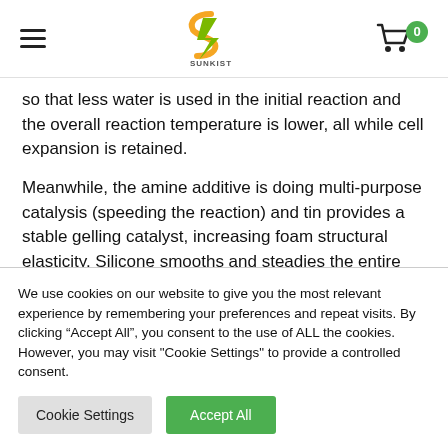Sunkist header with hamburger menu, logo, and cart icon showing 0
so that less water is used in the initial reaction and the overall reaction temperature is lower, all while cell expansion is retained.
Meanwhile, the amine additive is doing multi-purpose catalysis (speeding the reaction) and tin provides a stable gelling catalyst, increasing foam structural elasticity. Silicone smooths and steadies the entire
We use cookies on our website to give you the most relevant experience by remembering your preferences and repeat visits. By clicking “Accept All”, you consent to the use of ALL the cookies. However, you may visit "Cookie Settings" to provide a controlled consent.